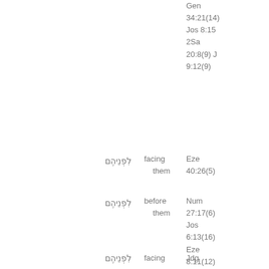Gen 34:21(14) Jos 8:15 2Sa 20:8(9) J 9:12(9)
לִפְנֵיהֶם facing them
לִפְנֵיהֶם before them
לִפְנֵיהֶם facing